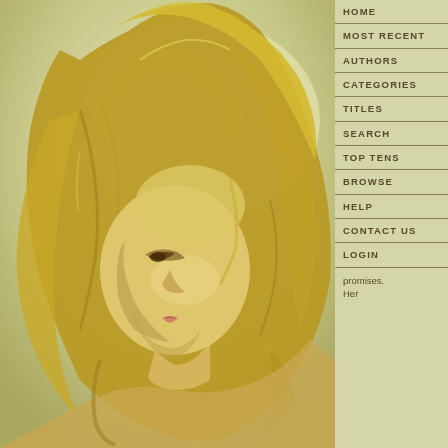[Figure (illustration): Digital painting of a woman with long flowing golden blonde hair, viewed from the side/three-quarter angle, warm yellow-green background, soft artistic rendering.]
HOME
MOST RECENT
AUTHORS
CATEGORIES
TITLES
SEARCH
TOP TENS
BROWSE
HELP
CONTACT US
LOGIN
promises. Her